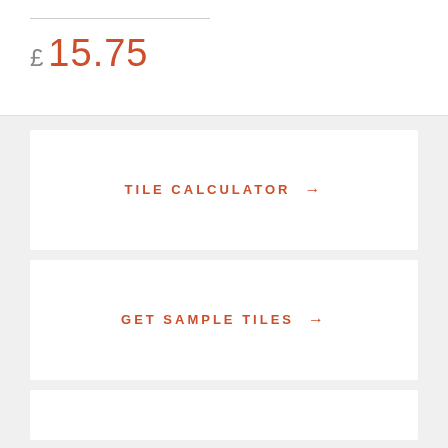£ 15.75
TILE CALCULATOR →
GET SAMPLE TILES →